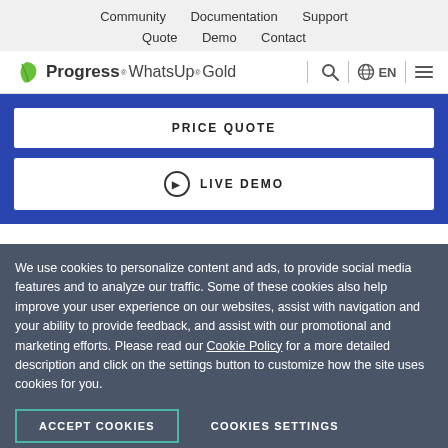Community  Documentation  Support  Quote  Demo  Contact
[Figure (logo): Progress WhatsUp Gold logo with green leaf icon, search icon, globe EN language selector, and hamburger menu]
PRICE QUOTE
▶ LIVE DEMO
We use cookies to personalize content and ads, to provide social media features and to analyze our traffic. Some of these cookies also help improve your user experience on our websites, assist with navigation and your ability to provide feedback, and assist with our promotional and marketing efforts. Please read our Cookie Policy for a more detailed description and click on the settings button to customize how the site uses cookies for you.
ACCEPT COOKIES    COOKIES SETTINGS